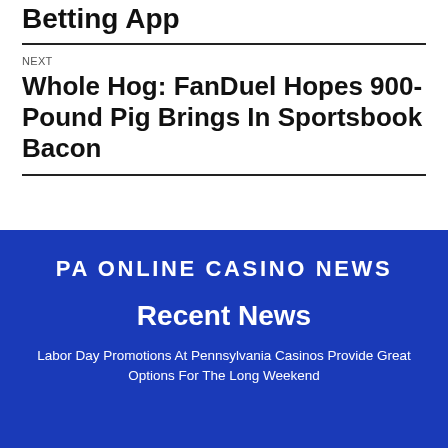Betting App
NEXT
Whole Hog: FanDuel Hopes 900-Pound Pig Brings In Sportsbook Bacon
PA ONLINE CASINO NEWS
Recent News
Labor Day Promotions At Pennsylvania Casinos Provide Great Options For The Long Weekend